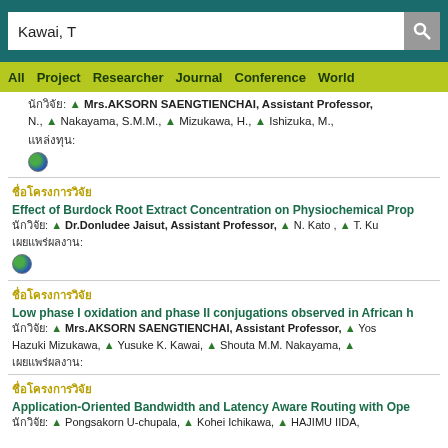Kawai, T
All  Project  Researcher  Journal  Conference  World
นักวิจัย: Mrs.AKSORN SAENGTIENCHAI, Assistant Professor, N., Nakayama, S.M.M., Mizukawa, H., Ishizuka, M., แหล่งทุน:
ชื่อโครงการ: Effect of Burdock Root Extract Concentration on Physiochemical Prop
นักวิจัย: Dr.Donludee Jaisut, Assistant Professor, N. Kato , T. Ku
เผยแพร่ผลงาน:
ชื่อโครงการ: Low phase I oxidation and phase II conjugations observed in African h
นักวิจัย: Mrs.AKSORN SAENGTIENCHAI, Assistant Professor, Yos Hazuki Mizukawa, Yusuke K. Kawai, Shouta M.M. Nakayama,
เผยแพร่ผลงาน:
ชื่อโครงการ: Application-Oriented Bandwidth and Latency Aware Routing with Ope
นักวิจัย: Pongsakorn U-chupala, Kohei Ichikawa, HAJIMU IIDA,